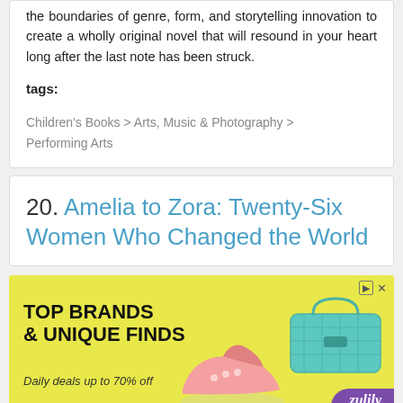the boundaries of genre, form, and storytelling innovation to create a wholly original novel that will resound in your heart long after the last note has been struck.
tags:
Children's Books > Arts, Music & Photography > Performing Arts
20. Amelia to Zora: Twenty-Six Women Who Changed the World
[Figure (other): Advertisement banner with yellow background showing text 'TOP BRANDS & UNIQUE FINDS' and 'Daily deals up to 70% off' with images of a pink shoe and teal bag, branded Zulily]